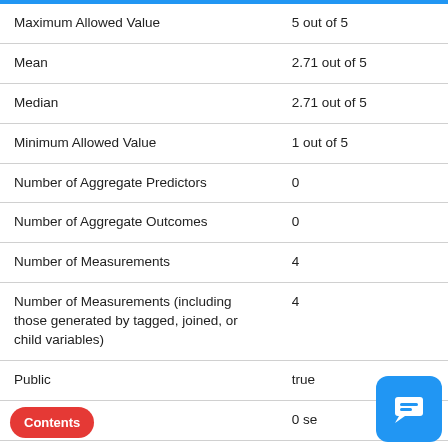| Property | Value |
| --- | --- |
| Maximum Allowed Value | 5 out of 5 |
| Mean | 2.71 out of 5 |
| Median | 2.71 out of 5 |
| Minimum Allowed Value | 1 out of 5 |
| Number of Aggregate Predictors | 0 |
| Number of Aggregate Outcomes | 0 |
| Number of Measurements | 4 |
| Number of Measurements (including those generated by tagged, joined, or child variables) | 4 |
| Public | true |
| Onset Delay | 0 se... |
| Standard Deviation | 0 |